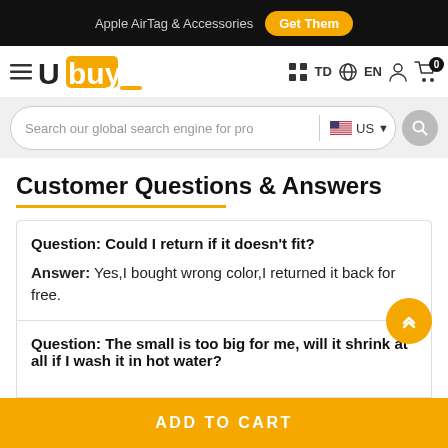Apple AirTag & Accessories  Get Them
[Figure (logo): Ubuy logo with orange square background on 'bu' letters]
Search our global search engine for pro  US
Customer Questions & Answers
Question: Could I return if it doesn't fit?
Answer: Yes,I bought wrong color,I returned it back for free.
Question: The small is too big for me, will it shrink at all if I wash it in hot water?
ADD TO CART